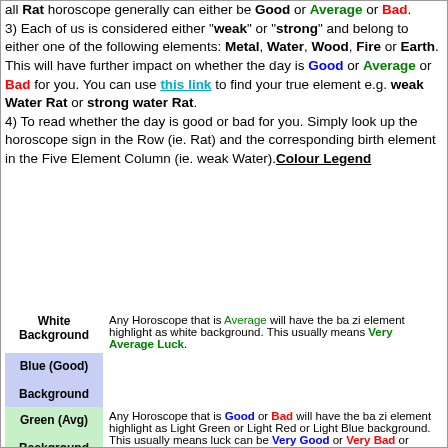all Rat horoscope generally can either be Good or Average or Bad. 3) Each of us is considered either "weak" or "strong" and belong to either one of the following elements: Metal, Water, Wood, Fire or Earth. This will have further impact on whether the day is Good or Average or Bad for you. You can use this link to find your true element e.g. weak Water Rat or strong water Rat. 4) To read whether the day is good or bad for you. Simply look up the horoscope sign in the Row (ie. Rat) and the corresponding birth element in the Five Element Column (ie. weak Water). Colour Legend
|  |  |
| --- | --- |
| White Background | Any Horoscope that is Average will have the ba zi element highlight as white background. This usually means Very Average Luck. |
| Blue (Good) Background | Any Horoscope that is Good or Bad will have the ba zi element highlight as Light Green or Light Red or Light Blue background. This usually means luck can be Very Good or Very Bad or Better than Average. |
| Green (Avg) Background |  |
| Red (Bad) Background |  |